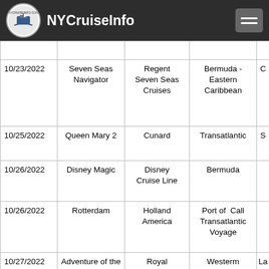NYCruiseInfo
| Date | Ship | Cruise Line | Route |  |
| --- | --- | --- | --- | --- |
| 10/23/2022 | Seven Seas Navigator | Regent Seven Seas Cruises | Bermuda - Eastern Caribbean | C |
| 10/25/2022 | Queen Mary 2 | Cunard | Transatlantic | S |
| 10/26/2022 | Disney Magic | Disney Cruise Line | Bermuda |  |
| 10/26/2022 | Rotterdam | Holland America | Port of Call Transatlantic Voyage |  |
| 10/27/2022 | Adventure of the Seas | Royal Caribbean | Westerm Caribbean - | La |